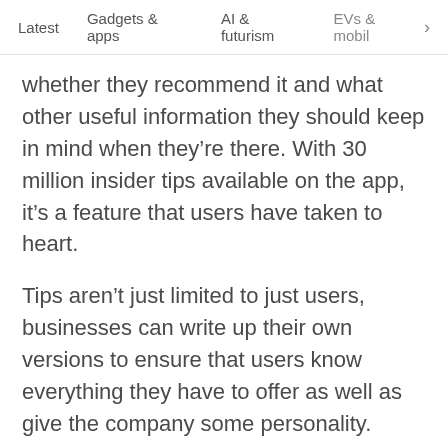Latest   Gadgets & apps   AI & futurism   EVs & mobil  >
whether they recommend it and what other useful information they should keep in mind when they're there. With 30 million insider tips available on the app, it's a feature that users have taken to heart.
Tips aren't just limited to just users, businesses can write up their own versions to ensure that users know everything they have to offer as well as give the company some personality.
What you should aim for is to become an authority on your area by providing tips about other locations close by. If you're a cafe, you could recommend the park nearby as a great place to enjoy your latte. If you're a sporting venue, you can inform followers